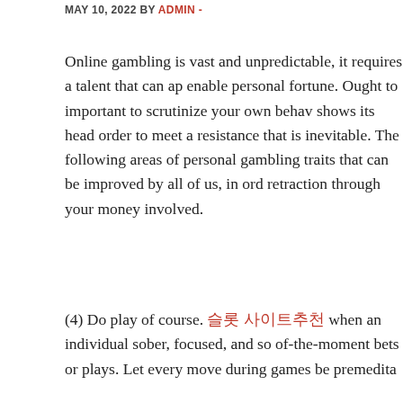MAY 10, 2022 BY ADMIN -
Online gambling is vast and unpredictable, it requires a talent that can ap... enable personal fortune. Ought to important to scrutinize your own behav... shows its head order to meet a resistance that is inevitable. The following... areas of personal gambling traits that can be improved by all of us, in ord... retraction through your money involved.
(4) Do play of course. 슬롯 사이트추천 when an individual sober, focused, and so... of-the-moment bets or plays. Let every move during games be premedita...
Another the answer to consider attempting finding probably the most onli... watch out for at the tournaments and special games they special offer. Tr... you great competitions, special bonuses and free buy ins to games so of...
Another excellent playing Casino games online is that you may actually b... as as pick the exercise a secure site which will take proper your info. Her... ripped abs at essential rules on how to play a popular game called Casin...
There are prizes and fun money that are being used as the means belon... might be played. Enjoyment casino company executives plan the games... games at the event.The main purpose of this hire usually liven the climat... different appeal. Games and activities are often a usual a part of every...